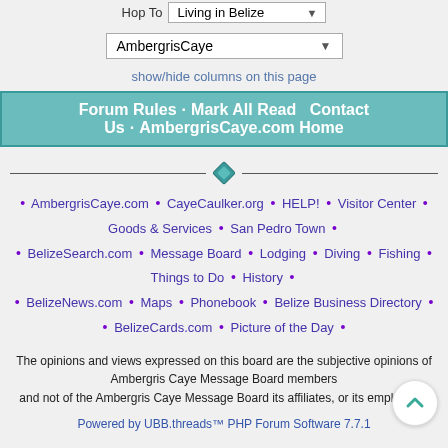Hop To | Living in Belize
AmbergrisCaye (dropdown)
show/hide columns on this page
Forum Rules · Mark All Read   Contact Us · AmbergrisCaye.com Home
• AmbergrisCaye.com • CayeCaulker.org • HELP! • Visitor Center • Goods & Services • San Pedro Town • • BelizeSearch.com • Message Board • Lodging • Diving • Fishing • Things to Do • History • • BelizeNews.com • Maps • Phonebook • Belize Business Directory • • BelizeCards.com • Picture of the Day •
The opinions and views expressed on this board are the subjective opinions of Ambergris Caye Message Board members and not of the Ambergris Caye Message Board its affiliates, or its employees.
Powered by UBB.threads™ PHP Forum Software 7.7.1